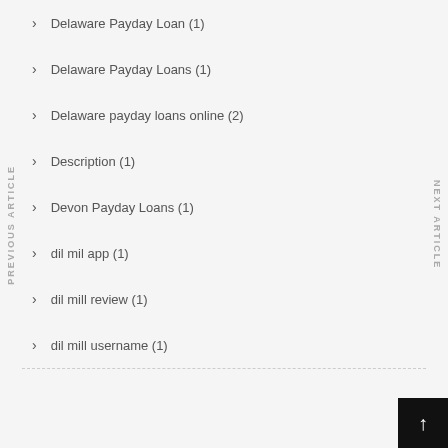Delaware Payday Loan (1)
Delaware Payday Loans (1)
Delaware payday loans online (2)
Description (1)
Devon Payday Loans (1)
dil mil app (1)
dil mill review (1)
dil mill username (1)